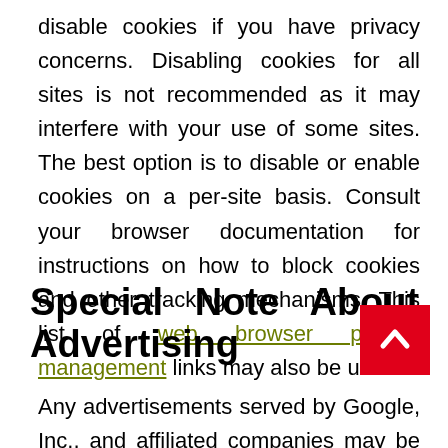disable cookies if you have privacy concerns. Disabling cookies for all sites is not recommended as it may interfere with your use of some sites. The best option is to disable or enable cookies on a per-site basis. Consult your browser documentation for instructions on how to block cookies and other tracking mechanisms. This list of web browser privacy management links may also be useful.
Special Note About Google Advertising
Any advertisements served by Google, Inc., and affiliated companies may be controlled using